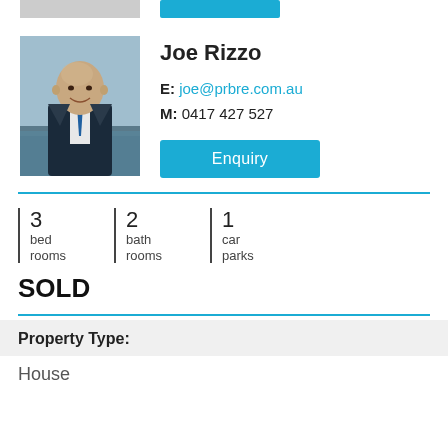[Figure (photo): Partially visible top strip showing cropped agent photo and blue Enquiry button from previous agent card]
[Figure (photo): Headshot of Joe Rizzo, a bald man in dark suit with blue tie, smiling, standing outdoors near water]
Joe Rizzo
E: joe@prbre.com.au
M: 0417 427 527
[Figure (other): Blue Enquiry button]
3 bed rooms
2 bath rooms
1 car parks
SOLD
Property Type:
House